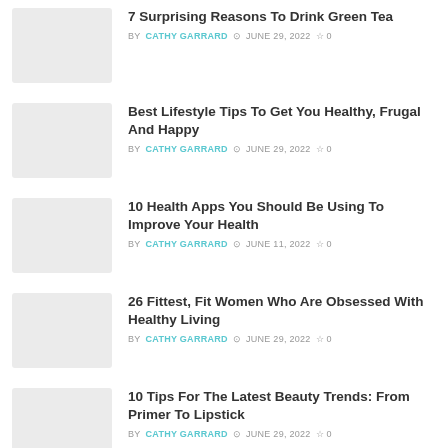7 Surprising Reasons To Drink Green Tea — BY CATHY GARRARD · JUNE 29, 2022 · 0
Best Lifestyle Tips To Get You Healthy, Frugal And Happy — BY CATHY GARRARD · JUNE 29, 2022 · 0
10 Health Apps You Should Be Using To Improve Your Health — BY CATHY GARRARD · JUNE 11, 2022 · 0
26 Fittest, Fit Women Who Are Obsessed With Healthy Living — BY CATHY GARRARD · JUNE 29, 2022 · 0
10 Tips For The Latest Beauty Trends: From Primer To Lipstick — BY CATHY GARRARD · JUNE 29, 2022 · 0